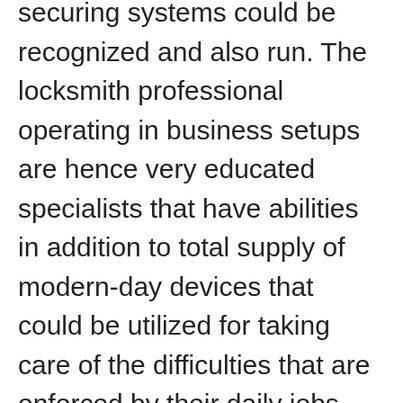securing systems could be recognized and also run. The locksmith professional operating in business setups are hence very educated specialists that have abilities in addition to total supply of modern-day devices that could be utilized for taking care of the difficulties that are enforced by their daily jobs.
In basic words you merely cannot call any type of arbitrary locksmith professional since just a professional could do the work effectively for you. We have actually currently discussed over that nature of work connected with locksmith professionals is made